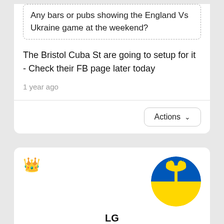Any bars or pubs showing the England Vs Ukraine game at the weekend?
The Bristol Cuba St are going to setup for it - Check their FB page later today
1 year ago
Actions
[Figure (illustration): Ukrainian flag trident emblem circular avatar]
LG